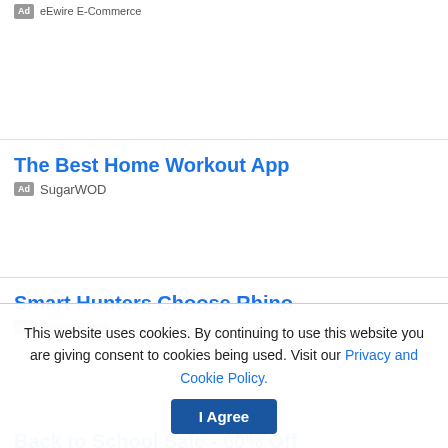Ad · eEwire E-Commerce
The Best Home Workout App
Ad · SugarWOD
Smart Hunters Choose Rhino
Ad · Rhino Blinds
Back to School Sale - 60% Off
This website uses cookies. By continuing to use this website you are giving consent to cookies being used. Visit our Privacy and Cookie Policy.